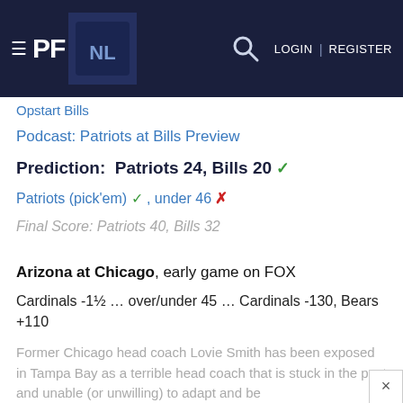PF | LOGIN | REGISTER
Opstart Bills
Podcast: Patriots at Bills Preview
Prediction:  Patriots 24, Bills 20 ✓
Patriots (pick'em) ✓ , under 46 ✗
Final Score: Patriots 40, Bills 32
Arizona at Chicago, early game on FOX
Cardinals -1½ … over/under 45 … Cardinals -130, Bears +110
Former Chicago head coach Lovie Smith has been exposed in Tampa Bay as a terrible head coach that is stuck in the past and unable (or unwilling) to adapt and be